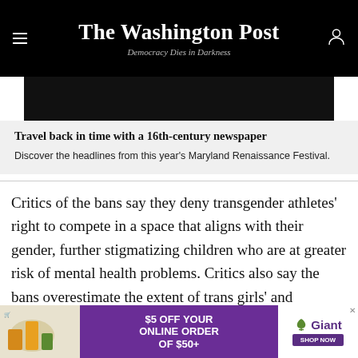The Washington Post — Democracy Dies in Darkness
[Figure (photo): Dark/black image area at top of promo block]
Travel back in time with a 16th-century newspaper
Discover the headlines from this year's Maryland Renaissance Festival.
Critics of the bans say they deny transgender athletes' right to compete in a space that aligns with their gender, further stigmatizing children who are at greater risk of mental health problems. Critics also say the bans overestimate the extent of trans girls' and women's
[Figure (infographic): Giant grocery store advertisement: $5 OFF YOUR ONLINE ORDER OF $50+ — Giant logo with leaf icon — SHOP NOW button]